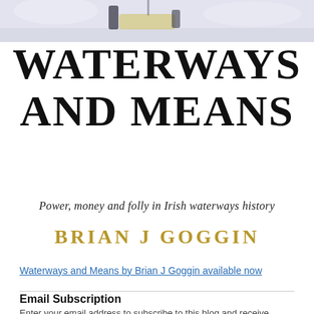[Figure (illustration): Top portion of a book cover illustration showing a waterway scene with figures and a boat in muted watercolor style]
WATERWAYS AND MEANS
Power, money and folly in Irish waterways history
BRIAN J GOGGIN
Waterways and Means by Brian J Goggin available now
Email Subscription
Enter your email address to subscribe to this blog and receive notifications of new posts by email.